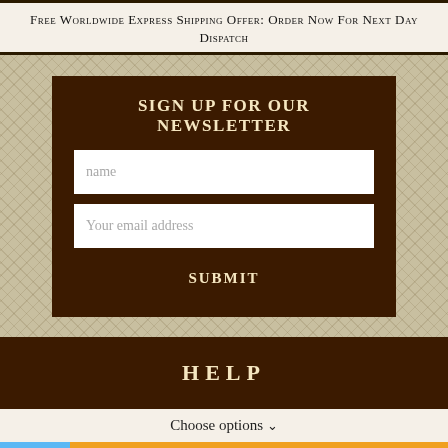Free Worldwide Express Shipping Offer: Order Now For Next Day Dispatch
SIGN UP FOR OUR NEWSLETTER
name
Your email address
SUBMIT
HELP
Choose options
ADD TO CART